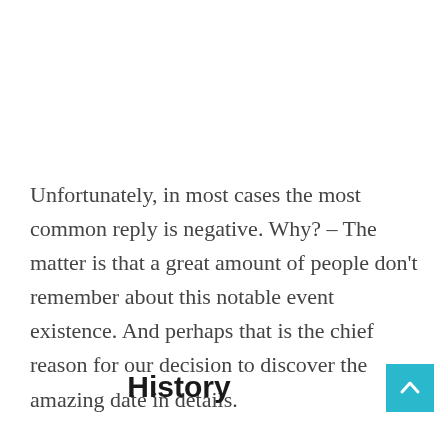Unfortunately, in most cases the most common reply is negative. Why? – The matter is that a great amount of people don't remember about this notable event existence. And perhaps that is the chief reason for our decision to discover the amazing date in details.
History